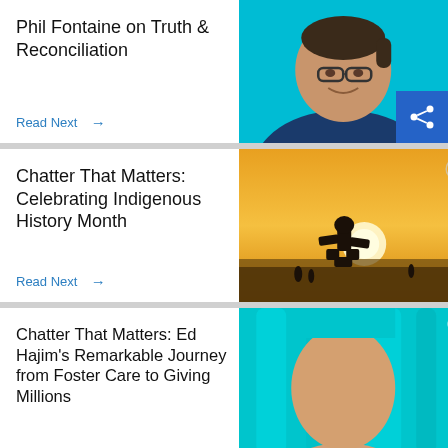Phil Fontaine on Truth & Reconciliation
Read Next →
[Figure (photo): Portrait of Phil Fontaine against a cyan/teal background]
Chatter That Matters: Celebrating Indigenous History Month
Read Next →
[Figure (photo): Inukshuk silhouette against a golden sunset sky with water in the background]
Chatter That Matters: Ed Hajim's Remarkable Journey from Foster Care to Giving Millions
[Figure (photo): Bald man against a cyan/teal background, partial view]